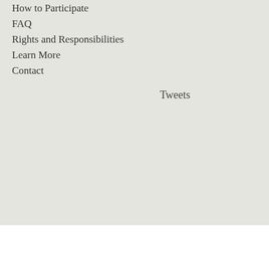How to Participate
FAQ
Rights and Responsibilities
Learn More
Contact
Tweets
| Time | Event |
| --- | --- |
|  | Hayl...
Poste...
8:45 A... |
| 1:00 PM | A De... NGO...
Mich...
Hunt...
Andr...
Brian...
Oral P...
1:00 P... |
| 1:15 PM | Anal... Glob...
Hunt...
Andr...
Brian...
Adam...
John...
Oral P...
1:15 P... |
| 1:30 PM | Stud...
T... |